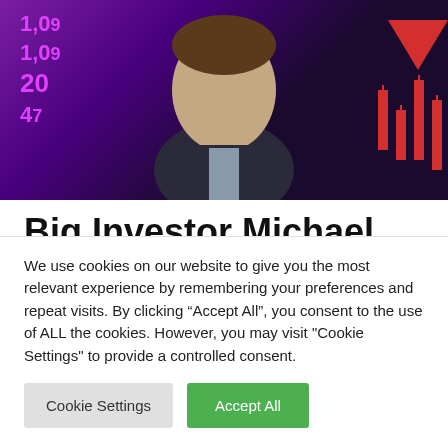[Figure (photo): Photo of a man in a suit against a financial stock market background with red downward arrow and pink/magenta numbers (1,09; 1,09; 20; 47) on a dark purple background with red candlestick chart bars on the right]
Big Investor Michael Perry Unloads All But One Stocks After Predicting Market Crash
Bitcoin Featured News
We use cookies on our website to give you the most relevant experience by remembering your preferences and repeat visits. By clicking “Accept All”, you consent to the use of ALL the cookies. However, you may visit "Cookie Settings" to provide a controlled consent.